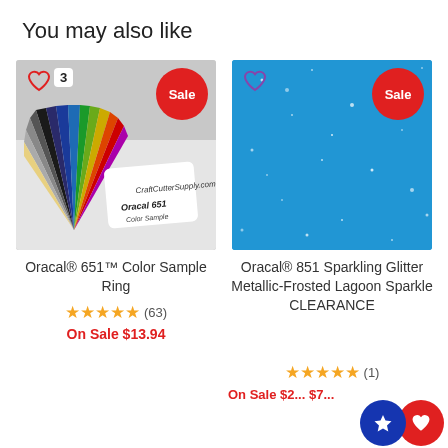You may also like
[Figure (photo): Photo of Oracal 651 color sample ring fan with multiple colored vinyl sheets, showing CraftCutterSupply.com label, with heart icon, count badge '3', and Sale badge]
Oracal® 651™ Color Sample Ring
★★★★★ (63)
On Sale $13.94
[Figure (photo): Photo of blue sparkling glitter metallic frosted vinyl material with heart icon and Sale badge]
Oracal® 851 Sparkling Glitter Metallic-Frosted Lagoon Sparkle CLEARANCE
★★★★★ (1)
On Sale $2... $7...